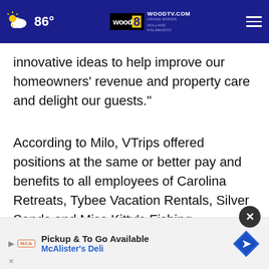86° | WOOD TV | WOODTV.COM GRAND RAPIDS HOLLAND KALAMAZOO
innovative ideas to help improve our homeowners' revenue and property care and delight our guests."
According to Milo, VTrips offered positions at the same or better pay and benefits to all employees of Carolina Retreats, Tybee Vacation Rentals, Silver Sands and Miss Kitty's Fishing Getaways.
"VTri... lifeblood of these companies, and we are doing
[Figure (screenshot): Advertisement banner: Pickup & To Go Available - McAlister's Deli with close button and McAlister's logo]